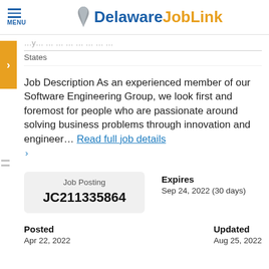MENU | Delaware JobLink
States
Job Description As an experienced member of our Software Engineering Group, we look first and foremost for people who are passionate around solving business problems through innovation and engineer… Read full job details
| Job Posting | Expires |
| --- | --- |
| JC211335864 | Sep 24, 2022 (30 days) |
Posted
Apr 22, 2022
Updated
Aug 25, 2022